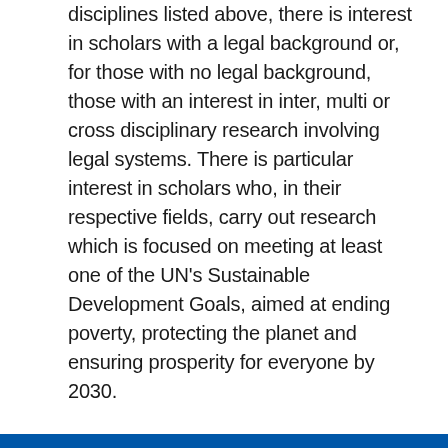disciplines listed above, there is interest in scholars with a legal background or, for those with no legal background, those with an interest in inter, multi or cross disciplinary research involving legal systems. There is particular interest in scholars who, in their respective fields, carry out research which is focused on meeting at least one of the UN's Sustainable Development Goals, aimed at ending poverty, protecting the planet and ensuring prosperity for everyone by 2030.
Back to awards search